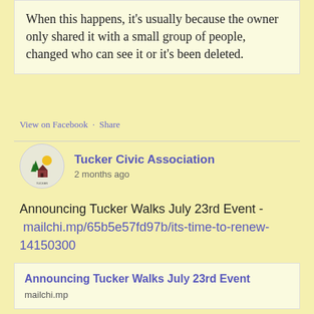When this happens, it's usually because the owner only shared it with a small group of people, changed who can see it or it's been deleted.
View on Facebook · Share
[Figure (logo): Tucker Civic Association circular logo with trees and house]
Tucker Civic Association
2 months ago
Announcing Tucker Walks July 23rd Event - mailchi.mp/65b5e57fd97b/its-time-to-renew-14150300
Announcing Tucker Walks July 23rd Event
mailchi.mp
View on Facebook · Share